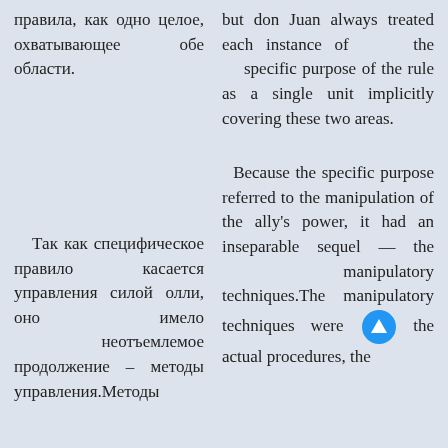правила, как одно целое, охватывающее обе области.
but don Juan always treated each instance of the specific purpose of the rule as a single unit implicitly covering these two areas.
Because the specific purpose referred to the manipulation of the ally's power, it had an inseparable sequel — the manipulatory techniques.The manipulatory techniques were the actual procedures, the
Так как специфическое правило касается управления силой олли, оно имело неотъемлемое продолжение – методы управления.Методы